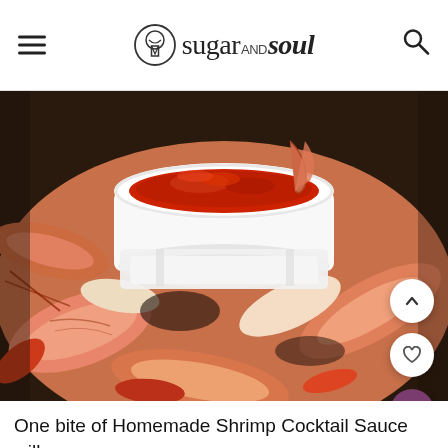sugar and soul
[Figure (photo): Close-up photo of cooked shrimp arranged around a white ceramic bowl filled with red cocktail sauce, shot on a dark background. Three UI overlay buttons visible on the right side.]
One bite of Homemade Shrimp Cocktail Sauce will